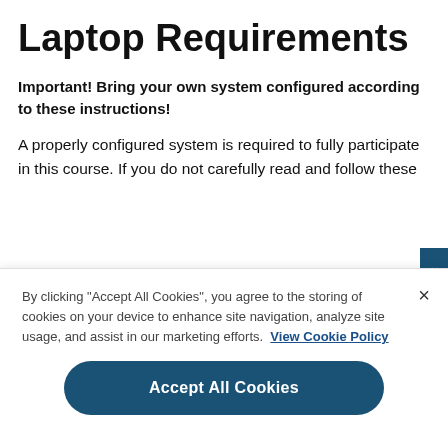Laptop Requirements
Important! Bring your own system configured according to these instructions!
A properly configured system is required to fully participate in this course. If you do not carefully read and follow these
By clicking "Accept All Cookies", you agree to the storing of cookies on your device to enhance site navigation, analyze site usage, and assist in our marketing efforts. View Cookie Policy
Accept All Cookies
Cookies Settings